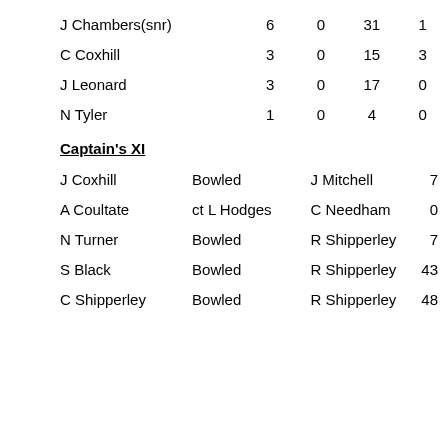| Name | O | M | R | W |
| --- | --- | --- | --- | --- |
| J Chambers(snr) | 6 | 0 | 31 | 1 |
| C Coxhill | 3 | 0 | 15 | 3 |
| J Leonard | 3 | 0 | 17 | 0 |
| N Tyler | 1 | 0 | 4 | 0 |
Captain's XI
| Name | How out | Bowler | Runs |
| --- | --- | --- | --- |
| J Coxhill | Bowled | J Mitchell | 7 |
| A Coultate | ct L Hodges | C Needham | 0 |
| N Turner | Bowled | R Shipperley | 7 |
| S Black | Bowled | R Shipperley | 43 |
| C Shipperley | Bowled | R Shipperley | 48 |